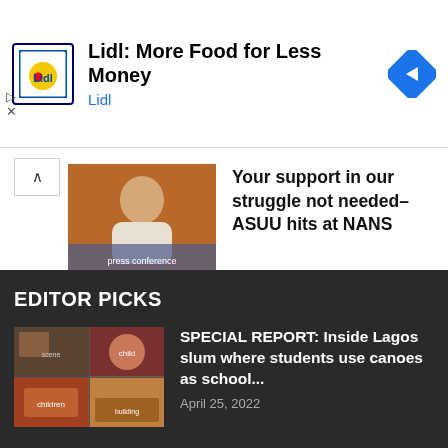[Figure (screenshot): Lidl advertisement banner with Lidl logo, text 'Lidl: More Food for Less Money' and 'Lidl', and a blue navigation diamond icon on the right]
[Figure (photo): Thumbnail photo of an elderly man seated, used as article image]
Your support in our struggle not needed– ASUU hits at NANS
EDITOR PICKS
[Figure (photo): Collage of four images showing Lagos slum scenes with children]
SPECIAL REPORT: Inside Lagos slum where students use canoes as school...
April 25, 2022